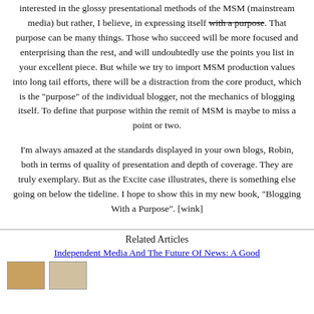interested in the glossy presentational methods of the MSM (mainstream media) but rather, I believe, in expressing itself with a purpose [strikethrough]. That purpose can be many things. Those who succeed will be more focused and enterprising than the rest, and will undoubtedly use the points you list in your excellent piece. But while we try to import MSM production values into long tail efforts, there will be a distraction from the core product, which is the "purpose" of the individual blogger, not the mechanics of blogging itself. To define that purpose within the remit of MSM is maybe to miss a point or two.
I'm always amazed at the standards displayed in your own blogs, Robin, both in terms of quality of presentation and depth of coverage. They are truly exemplary. But as the Excite case illustrates, there is something else going on below the tideline. I hope to show this in my new book, "Blogging With a Purpose". [wink]
Related Articles
Independent Media And The Future Of News: A Good